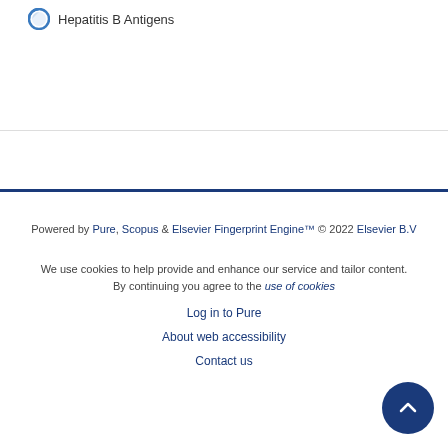Hepatitis B Antigens
Powered by Pure, Scopus & Elsevier Fingerprint Engine™ © 2022 Elsevier B.V

We use cookies to help provide and enhance our service and tailor content. By continuing you agree to the use of cookies

Log in to Pure

About web accessibility

Contact us